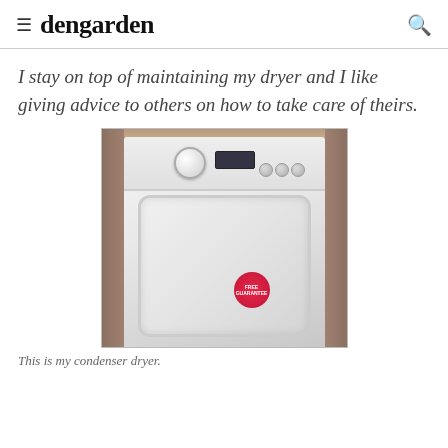dengarden
I stay on top of maintaining my dryer and I like giving advice to others on how to take care of theirs.
[Figure (photo): A white condenser dryer machine fitted in a wooden alcove, with a round dial knob, digital display, and buttons on the control panel. A pink/red circular sticker is on the door.]
This is my condenser dryer.